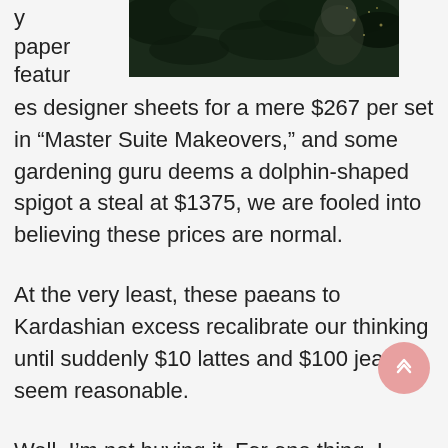[Figure (photo): Dark nature/fantasy image showing foliage and a figure, positioned in upper right of page]
y
paper
featur
es designer sheets for a mere $267 per set in “Master Suite Makeovers,” and some gardening guru deems a dolphin-shaped spigot a steal at $1375, we are fooled into believing these prices are normal.
At the very least, these paeans to Kardashian excess recalibrate our thinking until suddenly $10 lattes and $100 jeans seem reasonable.
Well, I’m not buying it. For one thing, I can’t. I can’t buy a thing.
I’m a writer